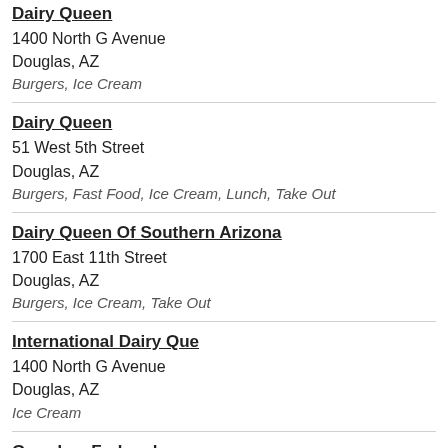Dairy Queen
1400 North G Avenue
Douglas, AZ
Burgers, Ice Cream
Dairy Queen
51 West 5th Street
Douglas, AZ
Burgers, Fast Food, Ice Cream, Lunch, Take Out
Dairy Queen Of Southern Arizona
1700 East 11th Street
Douglas, AZ
Burgers, Ice Cream, Take Out
International Dairy Que
1400 North G Avenue
Douglas, AZ
Ice Cream
Grandma Fudpuckers
513 East Allen Lane